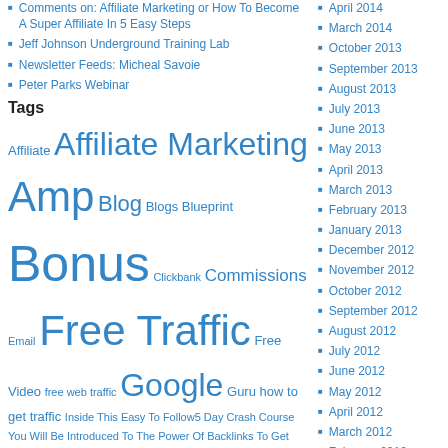Comments on: Affiliate Marketing or How To Become A Super Affiliate In 5 Easy Steps
Jeff Johnson Underground Training Lab
Newsletter Feeds: Micheal Savoie
Peter Parks Webinar
Tags
Affiliate Affiliate Marketing Amp Blog Blogs Blueprint Bonus Clickbank Commissions Email Free Traffic Free Video free web traffic Google Guru how to get traffic Inside This Easy To Follow5 Day Crash Course You Will Be Introduced To The Power Of Backlinks To Get More Traffic! Internet Marketing jeff johnson Jeff Johnson Coaching Club Launch make money online Making Money Online Marketers Marketing Training Money Niche People Product Launch Profits Seo Traffic
April 2014
March 2014
October 2013
September 2013
August 2013
July 2013
June 2013
May 2013
April 2013
March 2013
February 2013
January 2013
December 2012
November 2012
October 2012
September 2012
August 2012
July 2012
June 2012
May 2012
April 2012
March 2012
February 2012
January 2012
December 2011